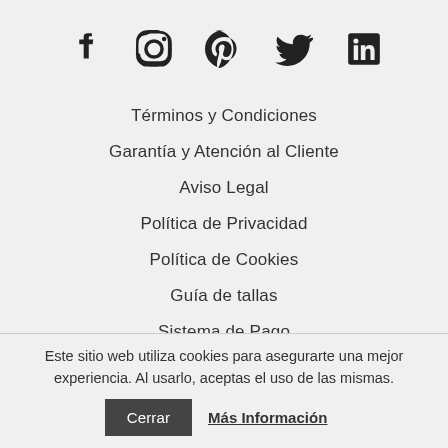[Figure (other): Row of social media icons: Facebook, Instagram, Pinterest, Twitter, LinkedIn]
Términos y Condiciones
Garantía y Atención al Cliente
Aviso Legal
Política de Privacidad
Política de Cookies
Guía de tallas
Sistema de Pago
Mi cuenta
Este sitio web utiliza cookies para asegurarte una mejor experiencia. Al usarlo, aceptas el uso de las mismas.
Cerrar  Más Información